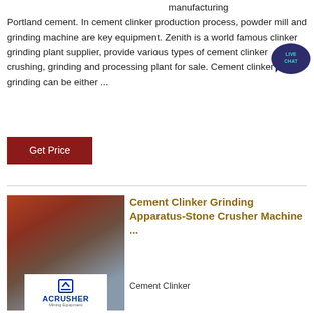manufacturing Portland cement. In cement clinker production process, powder mill and grinding machine are key equipment. Zenith is a world famous clinker grinding plant supplier, provide various types of cement clinker crushing, grinding and processing plant for sale. Cement clinker grinding can be either ...
[Figure (other): Live chat speech bubble icon in dark blue/teal with text LIVE CHAT]
Get Price
[Figure (photo): Photo of an industrial cement/stone crushing facility with red steel structures and a worker in a yellow hard hat. An ACRUSHER Mining Equipment logo overlay is visible at the bottom.]
Cement Clinker Grinding Apparatus-Stone Crusher Machine ...
Cement Clinker